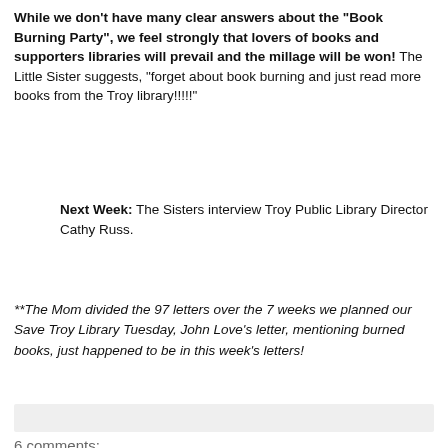While we don't have many clear answers about the "Book Burning Party", we feel strongly that lovers of books and supporters libraries will prevail and the millage will be won! The Little Sister suggests, "forget about book burning and just read more books from the Troy library!!!!!"
Next Week: The Sisters interview Troy Public Library Director Cathy Russ.
**The Mom divided the 97 letters over the 7 weeks we planned our Save Troy Library Tuesday, John Love's letter, mentioning burned books, just happened to be in this week's letters!
6 comments:
Books for Walls Project (The Four of Us)  8:59 AM
P.S. While we did contact the person reported to be the